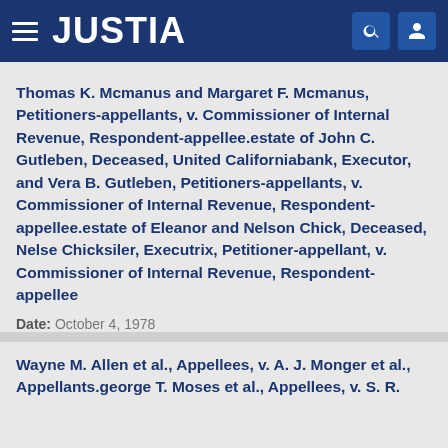JUSTIA
Thomas K. Mcmanus and Margaret F. Mcmanus, Petitioners-appellants, v. Commissioner of Internal Revenue, Respondent-appellee.estate of John C. Gutleben, Deceased, United Californiabank, Executor, and Vera B. Gutleben, Petitioners-appellants, v. Commissioner of Internal Revenue, Respondent-appellee.estate of Eleanor and Nelson Chick, Deceased, Nelse Chicksiler, Executrix, Petitioner-appellant, v. Commissioner of Internal Revenue, Respondent-appellee
Date: October 4, 1978
Citation: 583 F.2d 443
Wayne M. Allen et al., Appellees, v. A. J. Monger et al., Appellants.george T. Moses et al., Appellees, v. S. R.